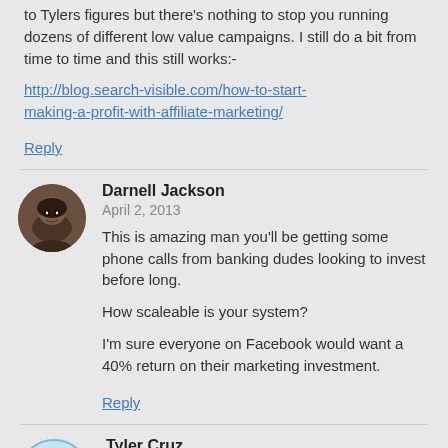to Tylers figures but there's nothing to stop you running dozens of different low value campaigns. I still do a bit from time to time and this still works:-
http://blog.search-visible.com/how-to-start-making-a-profit-with-affiliate-marketing/
Reply
Darnell Jackson
April 2, 2013

This is amazing man you'll be getting some phone calls from banking dudes looking to invest before long.

How scaleable is your system?

I'm sure everyone on Facebook would want a 40% return on their marketing investment.

Reply
Tyler Cruz
April 2, 2013

Yeah, the ROI is nice... although you do have to take